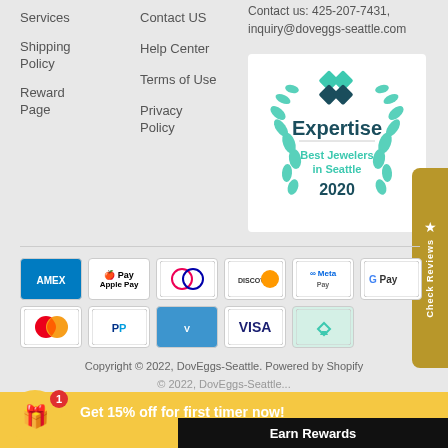Services
Shipping Policy
Reward Page
Contact US
Help Center
Terms of Use
Privacy Policy
Contact us: 425-207-7431, inquiry@doveggs-seattle.com
[Figure (logo): Expertise badge: Best Jewelers in Seattle 2020 with teal diamond logo and laurel wreath]
[Figure (infographic): Payment method icons: AMEX, Apple Pay, Diners, Discover, Meta Pay, Google Pay, Mastercard, PayPal, Venmo, Visa, Shopify Pay]
Copyright © 2022, DovEggs-Seattle. Powered by Shopify
Get 15% off for first timer now!
Earn Rewards